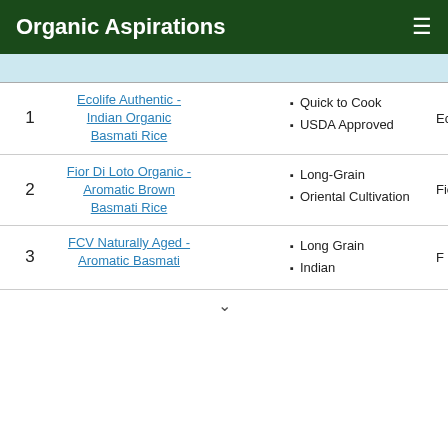Organic Aspirations
| # | Product Name |  | Features | Brand |
| --- | --- | --- | --- | --- |
| 1 | Ecolife Authentic - Indian Organic Basmati Rice |  | Quick to Cook; USDA Approved | Ec |
| 2 | Fior Di Loto Organic - Aromatic Brown Basmati Rice |  | Long-Grain; Oriental Cultivation | Fior |
| 3 | FCV Naturally Aged - Aromatic Basmati |  | Long Grain; Indian | F |